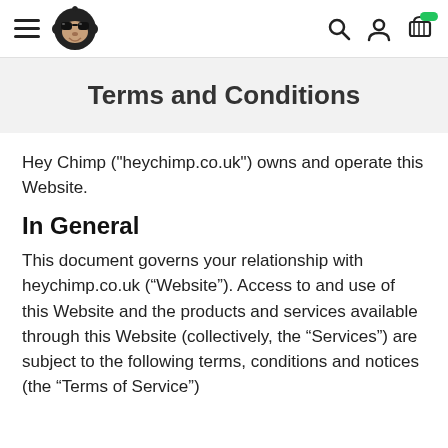Hey Chimp navigation header with hamburger menu, logo, search, account, and cart icons
Terms and Conditions
Hey Chimp ("heychimp.co.uk") owns and operate this Website.
In General
This document governs your relationship with heychimp.co.uk (“Website”). Access to and use of this Website and the products and services available through this Website (collectively, the “Services”) are subject to the following terms, conditions and notices (the “Terms of Service”)